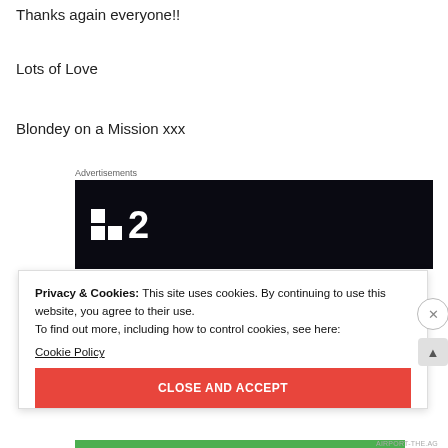Thanks again everyone!!
Lots of Love
Blondey on a Mission xxx
[Figure (other): Advertisement banner showing a dark/black background with a logo consisting of two small white squares and a large white number '2', resembling a TV channel logo (Film2 or similar).]
Privacy & Cookies: This site uses cookies. By continuing to use this website, you agree to their use.
To find out more, including how to control cookies, see here:
Cookie Policy
CLOSE AND ACCEPT